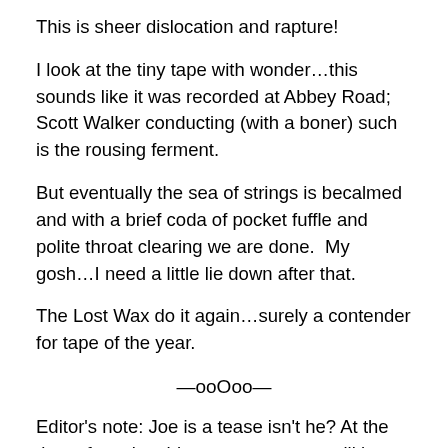This is sheer dislocation and rapture!
I look at the tiny tape with wonder…this sounds like it was recorded at Abbey Road; Scott Walker conducting (with a boner) such is the rousing ferment.
But eventually the sea of strings is becalmed and with a brief coda of pocket fuffle and polite throat clearing we are done.  My gosh…I need a little lie down after that.
The Lost Wax do it again…surely a contender for tape of the year.
—ooOoo—
Editor's note: Joe is a tease isn't he? At the time of posting this tape appears to still be 'forthcoming'. Keep an eye on the Psykick Dancehall Facebook page and website so you